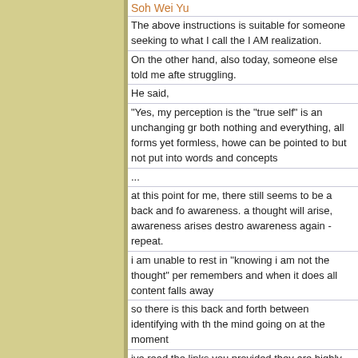Soh Wei Yu
The above instructions is suitable for someone seeking to what I call the I AM realization.
On the other hand, also today, someone else told me after struggling.
He said,
"Yes, my perception is the "true self" is an unchanging gr both nothing and everything, all forms yet formless, howe can be pointed to but not put into words and concepts
...
at this point for me, there still seems to be a back and fo awareness. a thought will arise, awareness arises destro awareness again - repeat.
i am unable to rest in "knowing i am not the thought" per remembers and when it does all content falls away
so there is this back and forth between identifying with th the mind going on at the moment
ive read the links you provided they are highly detailed th that may be beyond me at the moment i have a solid the been looking at my mind for years now, however the hab
...
i have [realised Self]
but this is forgotten in times of emotional distress - it see with the mind